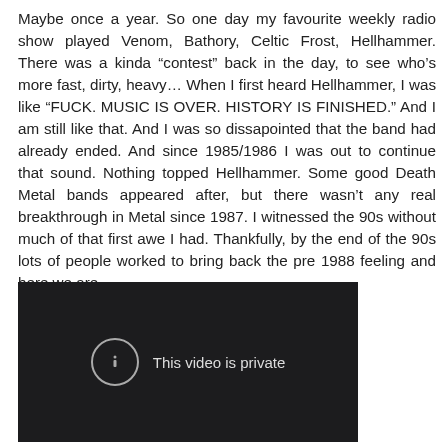Maybe once a year. So one day my favourite weekly radio show played Venom, Bathory, Celtic Frost, Hellhammer. There was a kinda “contest” back in the day, to see who’s more fast, dirty, heavy… When I first heard Hellhammer, I was like “FUCK. MUSIC IS OVER. HISTORY IS FINISHED.” And I am still like that. And I was so dissapointed that the band had already ended. And since 1985/1986 I was out to continue that sound. Nothing topped Hellhammer. Some good Death Metal bands appeared after, but there wasn’t any real breakthrough in Metal since 1987. I witnessed the 90s without much of that first awe I had. Thankfully, by the end of the 90s lots of people worked to bring back the pre 1988 feeling and here we are...
[Figure (screenshot): Embedded video player showing a black background with a circle-exclamation icon and the text 'This video is private']